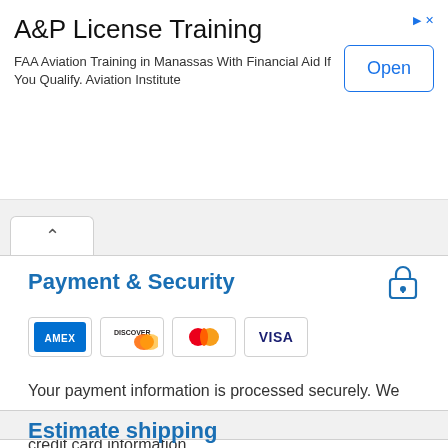[Figure (other): Advertisement banner: A&P License Training. FAA Aviation Training in Manassas With Financial Aid If You Qualify. Aviation Institute. Open button.]
Payment & Security
[Figure (other): Payment card logos: AMEX, Discover, Mastercard, Visa]
Your payment information is processed securely. We do not store credit card details nor have access to your credit card information.
Estimate shipping